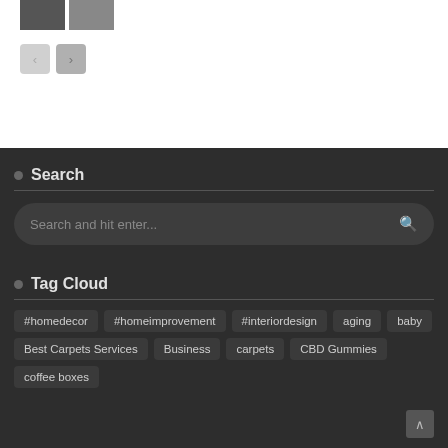[Figure (screenshot): Two small thumbnail images of people at top of page]
[Figure (screenshot): Navigation previous/next arrow buttons (grey rounded squares)]
Search
[Figure (screenshot): Search input box with placeholder text 'Search and hit enter...' and search icon on right]
Tag Cloud
#homedecor
#homeimprovement
#interiordesign
aging
baby
Best Carpets Services
Business
carpets
CBD Gummies
coffee boxes